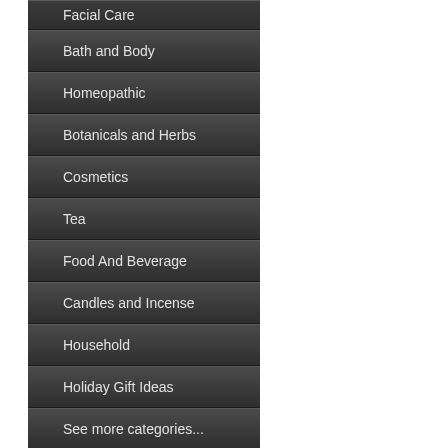Facial Care
Bath and Body
Homeopathic
Botanicals and Herbs
Cosmetics
Tea
Food And Beverage
Candles and Incense
Household
Holiday Gift Ideas
See more categories...